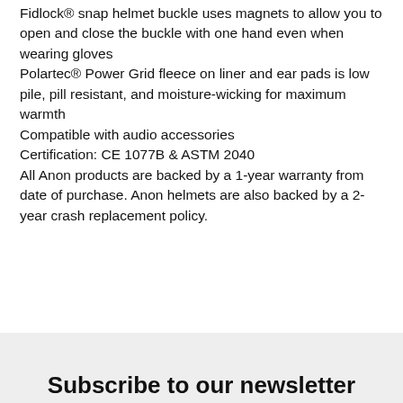Fidlock® snap helmet buckle uses magnets to allow you to open and close the buckle with one hand even when wearing gloves
Polartec® Power Grid fleece on liner and ear pads is low pile, pill resistant, and moisture-wicking for maximum warmth
Compatible with audio accessories
Certification: CE 1077B & ASTM 2040
All Anon products are backed by a 1-year warranty from date of purchase. Anon helmets are also backed by a 2-year crash replacement policy.
Subscribe to our newsletter